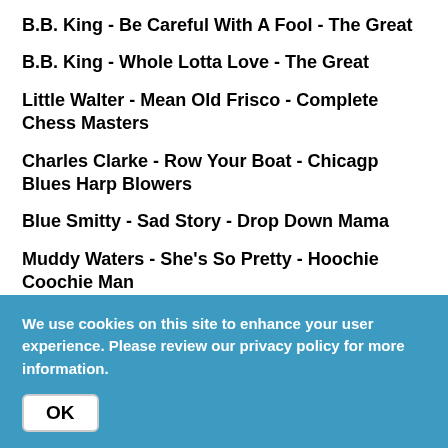B.B. King - Be Careful With A Fool - The Great
B.B. King - Whole Lotta Love - The Great
Little Walter - Mean Old Frisco - Complete Chess Masters
Charles Clarke - Row Your Boat - Chicagp Blues Harp Blowers
Blue Smitty - Sad Story - Drop Down Mama
Muddy Waters - She's So Pretty - Hoochie Coochie Man
We use cookies on this site to enhance your user experience. Please review our privacy policy for more information.
OK